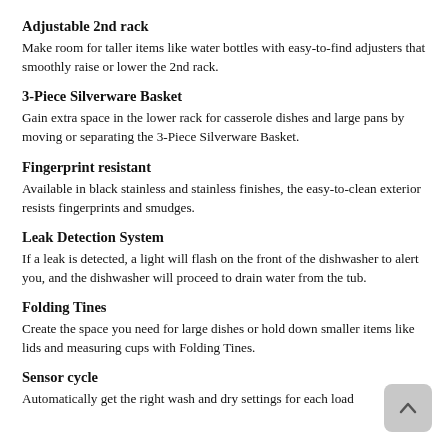Adjustable 2nd rack
Make room for taller items like water bottles with easy-to-find adjusters that smoothly raise or lower the 2nd rack.
3-Piece Silverware Basket
Gain extra space in the lower rack for casserole dishes and large pans by moving or separating the 3-Piece Silverware Basket.
Fingerprint resistant
Available in black stainless and stainless finishes, the easy-to-clean exterior resists fingerprints and smudges.
Leak Detection System
If a leak is detected, a light will flash on the front of the dishwasher to alert you, and the dishwasher will proceed to drain water from the tub.
Folding Tines
Create the space you need for large dishes or hold down smaller items like lids and measuring cups with Folding Tines.
Sensor cycle
Automatically get the right wash and dry settings for each load